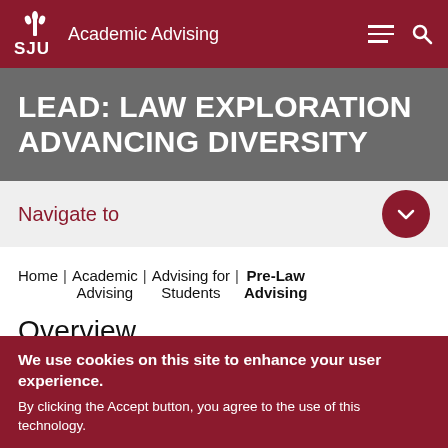SJU Academic Advising
LEAD: LAW EXPLORATION ADVANCING DIVERSITY
Navigate to
Home | Academic Advising | Advising for Students | Pre-Law Advising
Overview
We use cookies on this site to enhance your user experience. By clicking the Accept button, you agree to the use of this technology.